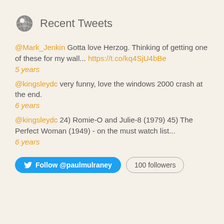Recent Tweets
@Mark_Jenkin Gotta love Herzog. Thinking of getting one of these for my wall... https://t.co/kq4SjU4bBe
5 years
@kingsleydc very funny, love the windows 2000 crash at the end.
6 years
@kingsleydc 24) Romie-O and Julie-8 (1979) 45) The Perfect Woman (1949) - on the must watch list...
6 years
Follow @paulmulraney  100 followers